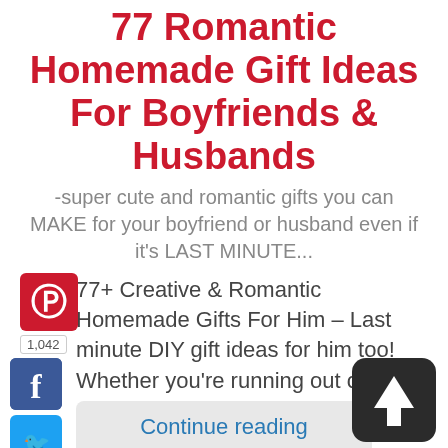77 Romantic Homemade Gift Ideas For Boyfriends & Husbands
-super cute and romantic gifts you can MAKE for your boyfriend or husband even if it's LAST MINUTE...
[Figure (logo): Pinterest share button with count 1,042; Facebook share button; Twitter share button; Scroll-to-top arrow button]
77+ Creative & Romantic Homemade Gifts For Him – Last minute DIY gift ideas for him too! Whether you're running out of time – or ran out of money …
Continue reading